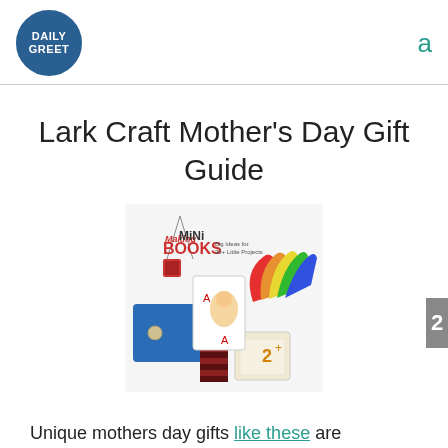DAILY GREET [logo] | a
Lark Craft Mother’s Day Gift Guide
[Figure (photo): Book cover of 'Making Mini Books: Big Ideas for 30+ Little Projects' showing various small handmade books including a playing card book, a fan-style book, a blue fabric book with button, flash cards, and a red pendant book necklace.]
Unique mothers day gifts like these are